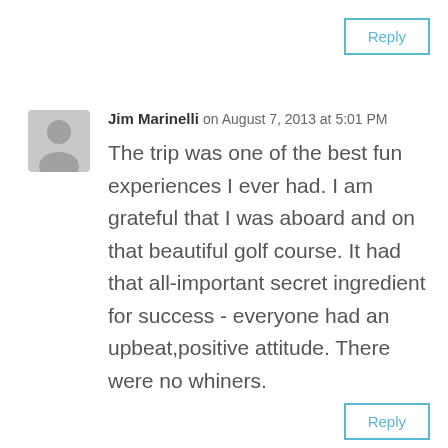Reply
Jim Marinelli on August 7, 2013 at 5:01 PM
The trip was one of the best fun experiences I ever had. I am grateful that I was aboard and on that beautiful golf course. It had that all-important secret ingredient for success - everyone had an upbeat,positive attitude. There were no whiners.
Reply